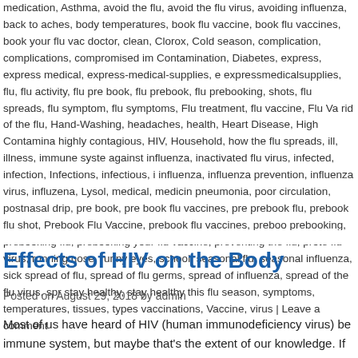medication, Asthma, avoid the flu, avoid the flu virus, avoiding influenza, back to aches, body temperatures, book flu vaccine, book flu vaccines, book your flu vac doctor, clean, Clorox, Cold season, complication, complications, compromised im Contamination, Diabetes, express, express medical, express-medical-supplies, e expressmedicalsupplies, flu, flu activity, flu pre book, flu prebook, flu prebooking, shots, flu spreads, flu symptom, flu symptoms, Flu treatment, flu vaccine, Flu Va rid of the flu, Hand-Washing, headaches, health, Heart Disease, High Contamina highly contagious, HIV, Household, how the flu spreads, ill, illness, immune syste against influenza, inactivated flu virus, infected, infection, Infections, infectious, i influenza, influenza prevention, influenza virus, influzena, Lysol, medical, medici pneumonia, poor circulation, postnasal drip, pre book, pre book flu vaccines, pre prebook flu, prebook flu shot, Prebook Flu Vaccine, prebook flu vaccines, preboo prebooking, prebooking flu, prebooking your flu vaccine, preventing the flu, prote flu virus, running nose, runny eyes, school, seasonal flu, seasonal influenza, sick spread of flu, spread of flu germs, spread of influenza, spread of the flu virus, spr stay healthy, stay healthy this flu season, symptoms, temperatures, tissues, type vaccinations, Vaccine, virus | Leave a comment
Effects of HIV on the Body
Posted on August 29, 2018 by admin
Most of us have heard of HIV (human immunodeficiency virus) be immune system, but maybe that's the extent of our knowledge. If